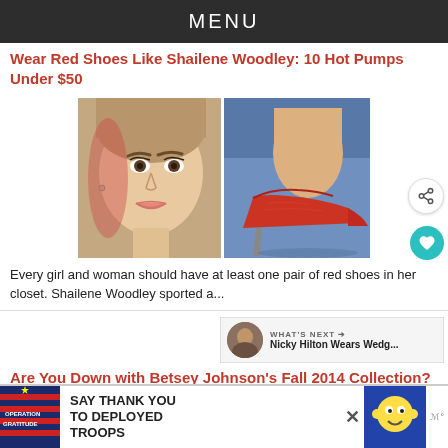MENU
Wear Red Shoes Like Shailene Woodley: 10 Hot Pumps Under $50
[Figure (photo): Side-by-side composite photo: left side shows actress Shailene Woodley's face close-up, right side shows red suede high heel pumps on a blue background]
Every girl and woman should have at least one pair of red shoes in her closet. Shailene Woodley sported a...
Are You Down with Betsey Johnson's Fall 2014 Collection?
[Figure (infographic): Advertisement banner: Operation Gratitude - Say Thank You To Deployed Troops, with patriotic stars and stripes design and cartoon mascot]